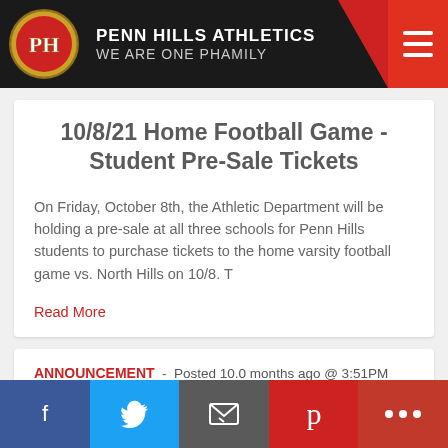PENN HILLS ATHLETICS WE ARE ONE PHAMILY
10/8/21 Home Football Game - Student Pre-Sale Tickets
On Friday, October 8th, the Athletic Department will be holding a pre-sale at all three schools for Penn Hills students to purchase tickets to the home varsity football game vs. North Hills on 10/8. T
Read More
ANNOUNCEMENT  -  Posted 10.0 months ago @ 3:51PM